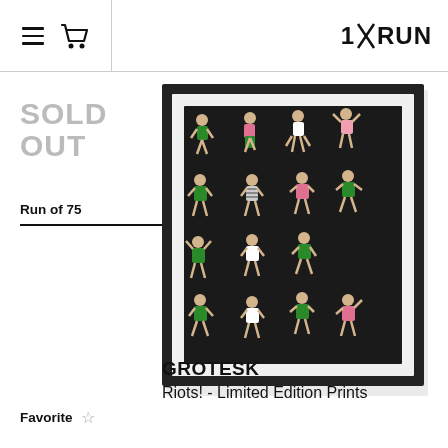1×RUN — navigation header with hamburger menu, cart icon, and logo
SOLD OUT
Run of 75
[Figure (photo): Framed limited edition art print showing cartoon-style figures in dynamic poses on a black background, arranged in a grid pattern. Characters wear green, pink, and white outfits.]
Favorite ☆
GROTESK
Riots! - Limited Edition Prints